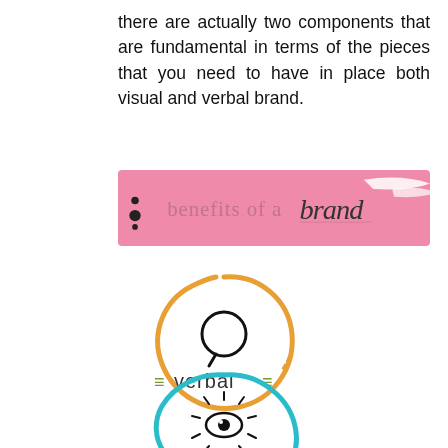there are actually two components that are fundamental in terms of the pieces that you need to have in place both visual and verbal brand.
[Figure (illustration): Pink banner with text 'benefits of a brand' in script/handwritten style font, with decorative dots on the left and white brush stroke on the right]
[Figure (logo): Circular orange brush-stroke ring containing a speech bubble icon, with '≡verbal≡' text below in olive green]
[Figure (logo): Circular teal brush-stroke ring (partial, bottom of page) containing an eye icon with sun rays]